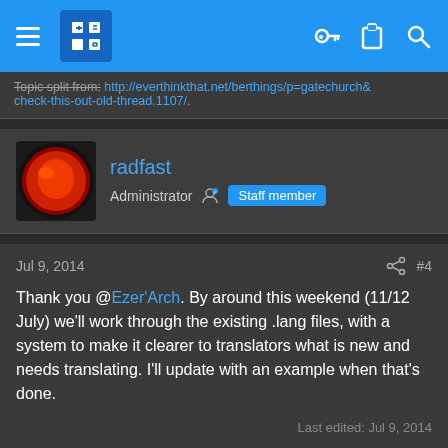[Figure (screenshot): Navigation bar with hamburger menu, logo, key icon, clipboard icon, and search icon on blue background]
Topic split from: http://everthingthat.net/berthings/p=gatechurch&check-this-out-old-thread.1107/.
radfast
Administrator  Staff member
Jul 9, 2014  #4
Thank you @Ezer'Arch. By around this weekend (11/12 July) we'll work through the existing .lang files, with a system to make it clearer to translators what is new and needs translating. I'll update with an example when that's done.
Last edited: Jul 9, 2014
radfast
Administrator  Staff member